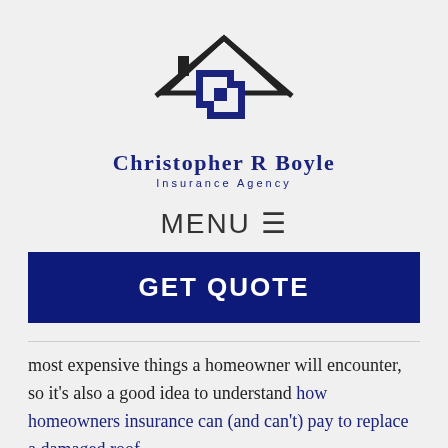[Figure (logo): Christopher R Boyle Insurance Agency logo with house roofline graphic and interlocking CB monogram in dark navy blue, company name below]
MENU ☰
GET QUOTE
most expensive things a homeowner will encounter, so it's also a good idea to understand how homeowners insurance can (and can't) pay to replace a damaged roof.